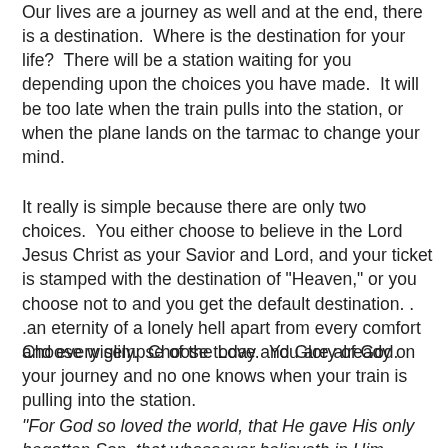Our lives are a journey as well and at the end, there is a destination.  Where is the destination for your life?  There will be a station waiting for you depending upon the choices you have made.  It will be too late when the train pulls into the station, or when the plane lands on the tarmac to change your mind.
It really is simple because there are only two choices.  You either choose to believe in the Lord Jesus Christ as your Savior and Lord, and your ticket is stamped with the destination of "Heaven," or you choose not to and you get the default destination. . .an eternity of a lonely hell apart from every comfort and every glimpse of the Love and Glory of God.
Choose wisely.  Choose today.  You are already on your journey and no one knows when your train is pulling into the station.
"For God so loved the world, that He gave His only begotten Son, that whosoever believeth in Him should not perish, but